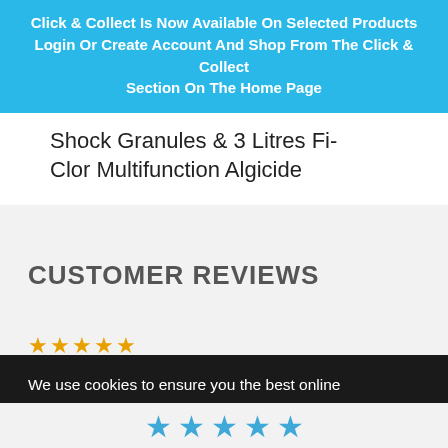Click & Collect Is Now Available On Selected Products Login Or Create Account And Shop From The Click & Collect Section On The Home Page
Shock Granules & 3 Litres Fi-Clor Multifunction Algicide
CUSTOMER REVIEWS
[Figure (other): Five orange/gold star rating icons]
We use cookies to ensure you the best online experience. By continuing to use our website you are agreeing to our use of cookies. Learn How We Use & How To Control Cookies
Accept Cookies
[Figure (other): Five blue star rating icons at the bottom of the page]